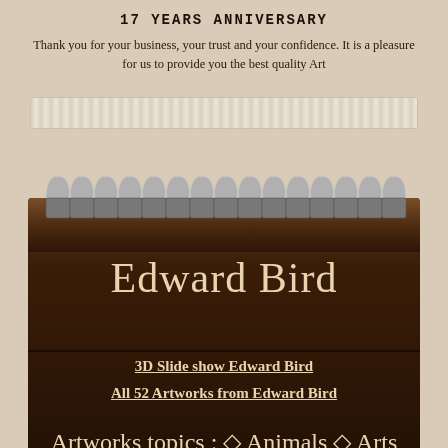17 YEARS ANNIVERSARY
Thank you for your business, your trust and your confidence. It is a pleasure for us to provide you the best quality Art
[Figure (illustration): Tape strip / decorative element]
[Figure (illustration): Notebook with spiral binding, brown leather texture, containing Edward Bird artist page with links]
Edward Bird
3D Slide show Edward Bird
All 52 Artworks from Edward Bird
Artworks topics : ◇ Animals ◇ Arts
◇ Birth And Death ◇ Buildings ◇ Children